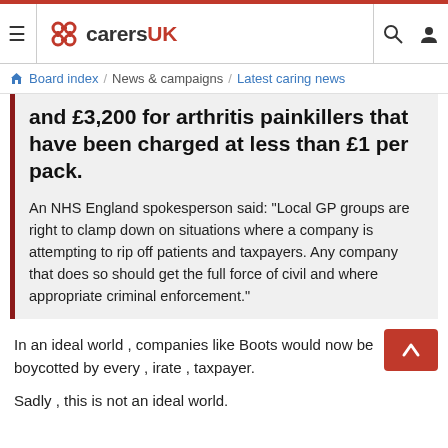carersuk
Board index / News & campaigns / Latest caring news
and £3,200 for arthritis painkillers that have been charged at less than £1 per pack.
An NHS England spokesperson said: "Local GP groups are right to clamp down on situations where a company is attempting to rip off patients and taxpayers. Any company that does so should get the full force of civil and where appropriate criminal enforcement."
In an ideal world , companies like Boots would now be boycotted by every , irate , taxpayer.
Sadly , this is not an ideal world.